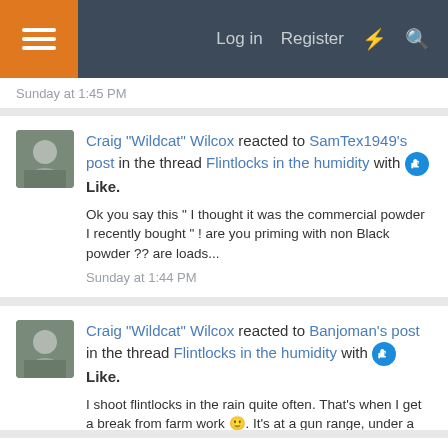[Figure (screenshot): Forum website navigation bar with hamburger menu (orange), Log in, Register, lightning bolt and search icons on dark navy background]
Sunday at 1:45 PM
Craig "Wildcat" Wilcox reacted to SamTex1949's post in the thread Flintlocks in the humidity with 👍 Like.
Ok you say this " I thought it was the commercial powder I recently bought " ! are you priming with non Black powder ?? are loads...
Sunday at 1:44 PM
Craig "Wildcat" Wilcox reacted to Banjoman's post in the thread Flintlocks in the humidity with 👍 Like.
I shoot flintlocks in the rain quite often. That's when I get a break from farm work 😊. It's at a gun range, under a shed, but still...
Sunday at 1:44 PM
Craig "Wildcat" Wilcox reacted to Robby's post